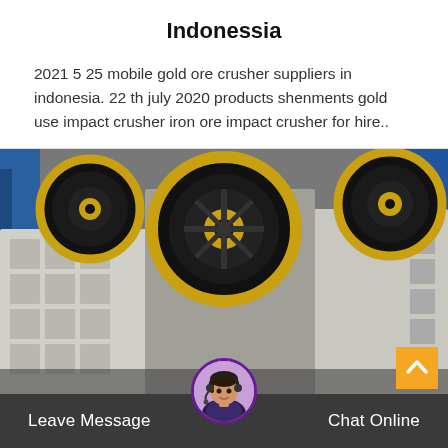Indonessia
2021 5 25 mobile gold ore crusher suppliers in indonesia. 22 th july 2020 products shenments gold use impact crusher iron ore impact crusher for hire..
[Figure (photo): Industrial jaw crusher machinery with large black and gold/yellow flywheels in a manufacturing facility. Equipment is white/grey with multiple flywheel pulleys visible.]
Leave Message   Chat Online